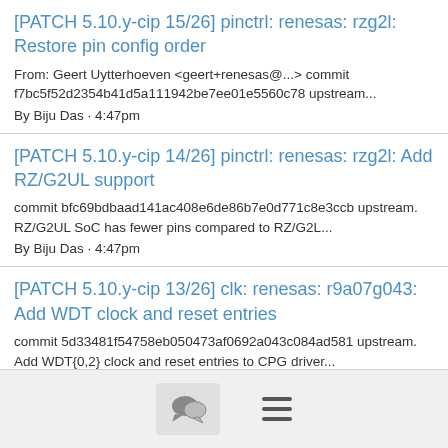[PATCH 5.10.y-cip 15/26] pinctrl: renesas: rzg2l: Restore pin config order
From: Geert Uytterhoeven <geert+renesas@...> commit f7bc5f52d2354b41d5a111942be7ee01e5560c78 upstream...
By Biju Das · 4:47pm
[PATCH 5.10.y-cip 14/26] pinctrl: renesas: rzg2l: Add RZ/G2UL support
commit bfc69bdbaad141ac408e6de86b7e0d771c8e3ccb upstream. RZ/G2UL SoC has fewer pins compared to RZ/G2L...
By Biju Das · 4:47pm
[PATCH 5.10.y-cip 13/26] clk: renesas: r9a07g043: Add WDT clock and reset entries
commit 5d33481f54758eb050473af0692a043c084ad581 upstream. Add WDT{0,2} clock and reset entries to CPG driver...
By Biju Das · 4:47pm
[PATCH 5.10.y-cip 12/26] clk:...